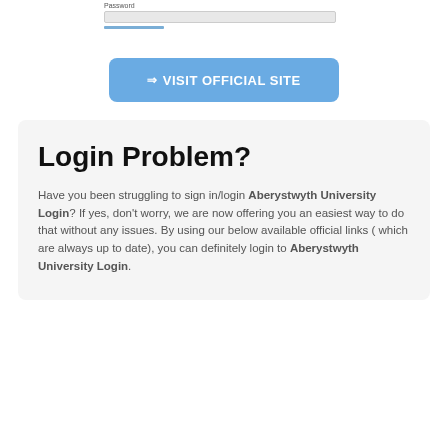[Figure (screenshot): Partial screenshot of a login form showing a Password label, an input field, and a blue underline element.]
[Figure (screenshot): A blue rounded button with the text '⇒ VISIT OFFICIAL SITE' in white.]
Login Problem?
Have you been struggling to sign in/login Aberystwyth University Login? If yes, don't worry, we are now offering you an easiest way to do that without any issues. By using our below available official links ( which are always up to date), you can definitely login to Aberystwyth University Login.